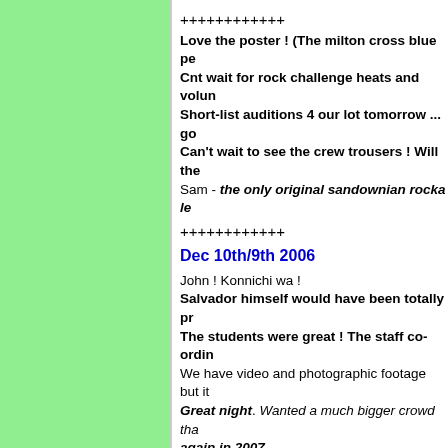++++++++++++
Love the poster ! (The milton cross blue pe... Cnt wait for rock challenge heats and volun... Short-list auditions 4 our lot tomorrow ... go... Can't wait to see the crew trousers ! Will the... Sam - the only original sandownian rocka le...
++++++++++++
Dec 10th/9th 2006
John ! Konnichi wa ! Salvador himself would have been totally pr... The students were great ! The staff co-ordin... We have video and photographic footage but it... Great night. Wanted a much bigger crowd tha... again in 2007. The UK team spent the night with the Aussie R... 23rd Century-looking place with shopping and ... After that, they go on to their final accommodat... word for this type of grass-mat-floored hotel) Cheers, and stay tuned ! Michael (Producer - "Be Your Best" Rock Ch...
++++++++++++
Dec 8th 2006
John, Konnichi wa ! About to leave my PC for the Hall and the hi...